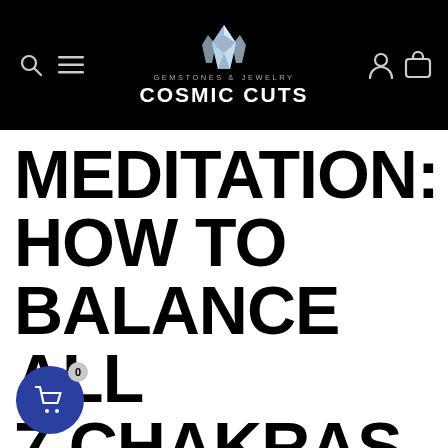GEMSTONES & JEWELRY COSMIC CUTS
MEDITATION: HOW TO BALANCE ALL 7 CHAKRAS BY MEDITATING